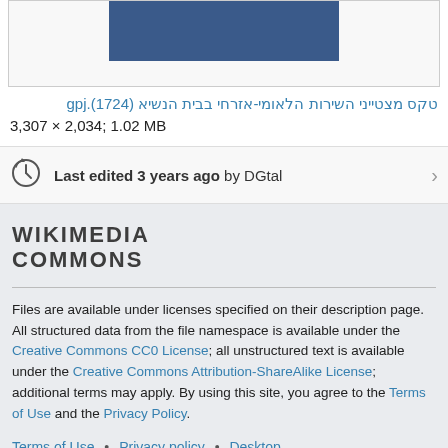[Figure (photo): Partial image of a ceremonial event, blue-toned photo, cropped at top]
טקס מצטייני השירות הלאומי-אזרחי בבית הנשיא (4271).jpg
3,307 × 2,034; 1.02 MB
Last edited 3 years ago by DGtal
WIKIMEDIA COMMONS
Files are available under licenses specified on their description page. All structured data from the file namespace is available under the Creative Commons CC0 License; all unstructured text is available under the Creative Commons Attribution-ShareAlike License; additional terms may apply. By using this site, you agree to the Terms of Use and the Privacy Policy.
Terms of Use • Privacy policy • Desktop